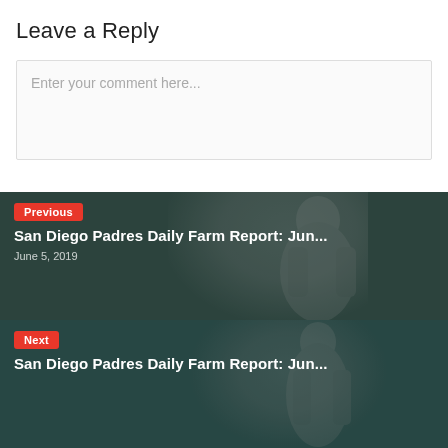Leave a Reply
Enter your comment here...
[Figure (photo): Baseball player smiling, pulling a white towel over his head, wearing a dark jersey. Dark teal background. Navigation card for 'Previous' post.]
Previous
San Diego Padres Daily Farm Report: Jun...
June 5, 2019
[Figure (photo): Baseball player in green uniform in a pitching pose. Dark teal/green background. Navigation card for 'Next' post.]
Next
San Diego Padres Daily Farm Report: Jun...